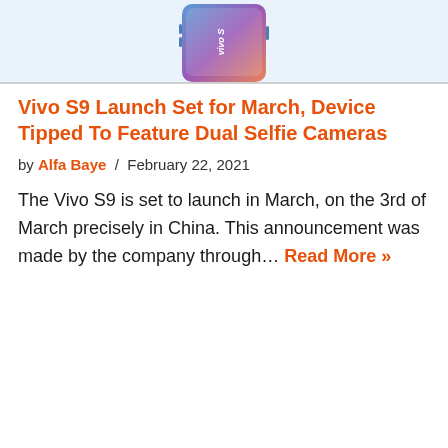[Figure (photo): Vivo S9 smartphone shown from the front with a gradient blue-pink back cover, partially cropped at top of page]
Vivo S9 Launch Set for March, Device Tipped To Feature Dual Selfie Cameras
by Alfa Baye / February 22, 2021
The Vivo S9 is set to launch in March, on the 3rd of March precisely in China. This announcement was made by the company through… Read More »